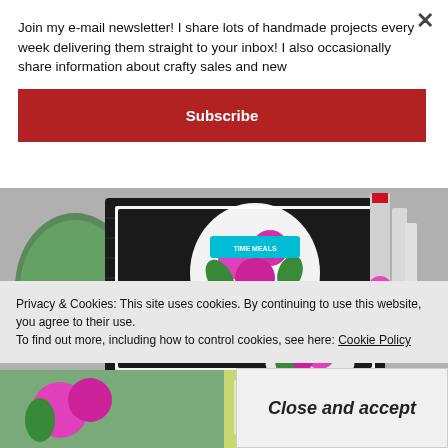[Figure (photo): Craft photo showing handmade card with pink floral stickers on black background alongside Copic markers]
Join my e-mail newsletter! I share lots of handmade projects every week delivering them straight to your inbox! I also occasionally share information about crafty sales and new
Subscribe
Privacy & Cookies: This site uses cookies. By continuing to use this website, you agree to their use.
To find out more, including how to control cookies, see here: Cookie Policy
Close and accept